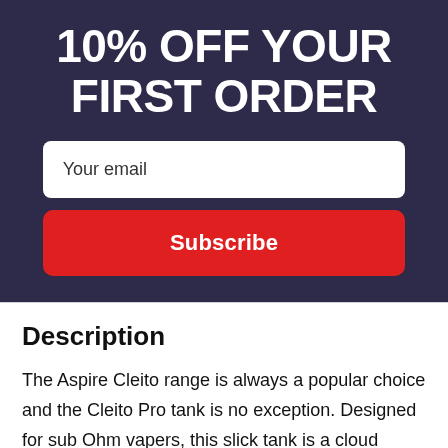10% OFF YOUR FIRST ORDER
Your email
Subscribe
Description
The Aspire Cleito range is always a popular choice and the Cleito Pro tank is no exception. Designed for sub Ohm vapers, this slick tank is a cloud producing beast. The